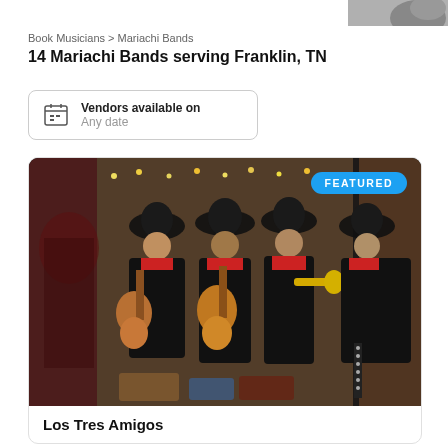[Figure (photo): Partial top image of drums/musician, cropped at top of page]
Book Musicians > Mariachi Bands
14 Mariachi Bands serving Franklin, TN
Vendors available on
Any date
[Figure (photo): Featured listing card showing mariachi band of four musicians wearing black charro suits and sombreros, playing guitar and trumpet indoors with string lights in background. Blue FEATURED badge overlaid top-right of image.]
Los Tres Amigos